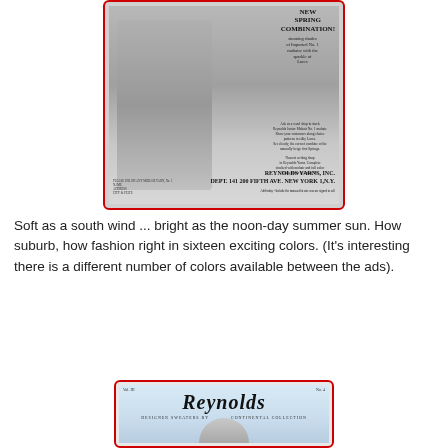[Figure (photo): Black and white vintage advertisement for Reynolds Yarns, Inc. showing a person wearing a cable-knit sweater with text 'NEW SPRING COMBINATION!' and small descriptive text on the right side, with the Reynolds Yarns Inc. branding at the bottom.]
Soft as a south wind ... bright as the noon-day summer sun. How suburb, how fashion right in sixteen exciting colors. (It's interesting there is a different number of colors available between the ads).
[Figure (photo): Cover of Reynolds Designer Sweaters Continental Collection catalog showing the Reynolds logo in large italic script, with 'DESIGNER SWEATERS BY' and 'CONTINENTAL COLLECTION' text flanking the logo, and a partial image of a person at the bottom.]